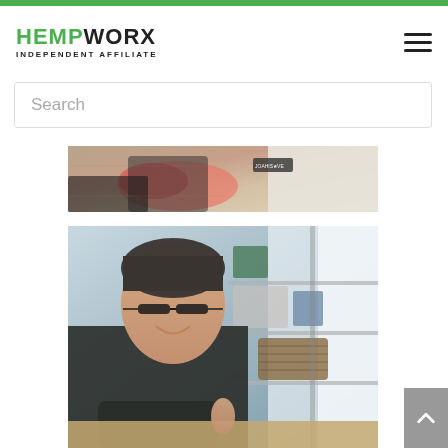HEMPWORX INDEPENDENT AFFILIATE
Search
[Figure (photo): Close-up photo of folded clothing items including pink and dark fabric with a brand tag visible]
[Figure (photo): Photo of a man with glasses wearing a dark t-shirt, smiling, seated at a desk or shelf area with storage containers visible in the background]